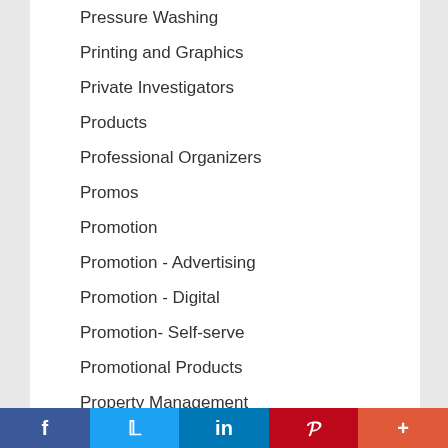Pressure Washing
Printing and Graphics
Private Investigators
Products
Professional Organizers
Promos
Promotion
Promotion - Advertising
Promotion - Digital
Promotion- Self-serve
Promotional Products
Property Management
Psychics
Psychology
f  Twitter  in  Pinterest  +